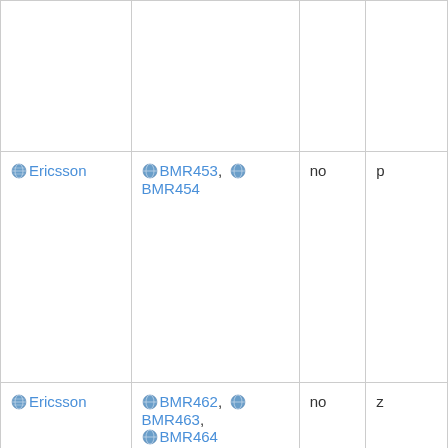|  |  |  |  |
| Ericsson | BMR453, BMR454 | no | p |
| Ericsson | BMR462, BMR463, BMR464 | no | z |
| Fintek | F71805F/FG | yes | f |